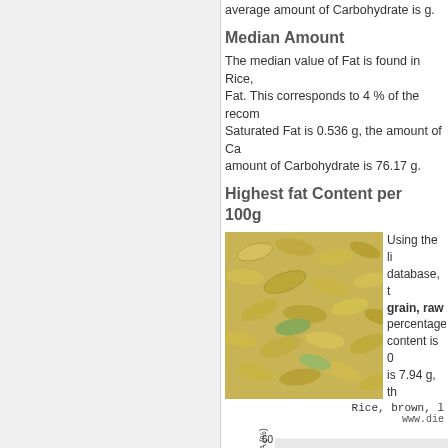average amount of Carbohydrate is g.
Median Amount
The median value of Fat is found in Rice, Fat. This corresponds to 4 % of the recommended daily allowance. Saturated Fat is 0.536 g, the amount of Carbohydrate — amount of Carbohydrate is 76.17 g.
Highest fat Content per 100g
[Figure (photo): Close-up photograph of brown rice grains, raw]
Using the list database, the grain, raw percentage content is 0 is 7.94 g, th
Rice, brown, l
www.die
[Figure (bar-chart): Partial bar chart showing percentage of RDA, y-axis visible with values 20, 40, 60]